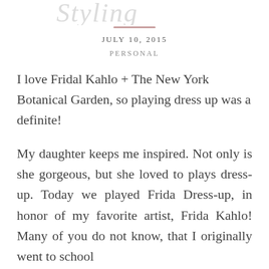[script/decorative header text]
JULY 10, 2015
PERSONAL
I love Fridal Kahlo + The New York Botanical Garden, so playing dress up was a definite!
My daughter keeps me inspired. Not only is she gorgeous, but she loved to plays dress-up. Today we played Frida Dress-up, in honor of my favorite artist, Frida Kahlo! Many of you do not know, that I originally went to school